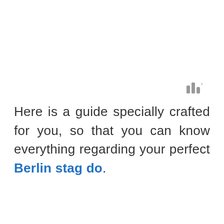[Figure (logo): Three vertical bars of varying height resembling a signal/analytics logo with a degree symbol, in gray color]
Here is a guide specially crafted for you, so that you can know everything regarding your perfect Berlin stag do.